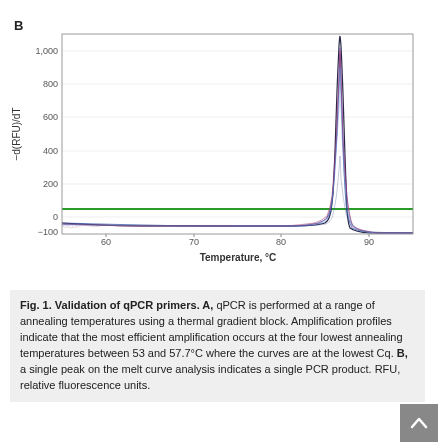[Figure (continuous-plot): Melt curve analysis chart showing -d(RFU)/dT vs Temperature (°C). Multiple overlapping blue/purple/red curves form a sharp peak near 86°C reaching above 1000 on the y-axis. A horizontal green reference line is at approximately y=50. The x-axis spans approximately 55 to 95°C. Y-axis labels: -100, 0, 200, 400, 600, 800, 1,000. X-axis labels: 60, 70, 80, 90.]
Fig. 1. Validation of qPCR primers. A, qPCR is performed at a range of annealing temperatures using a thermal gradient block. Amplification profiles indicate that the most efficient amplification occurs at the four lowest annealing temperatures between 53 and 57.7°C where the curves are at the lowest Cq. B, a single peak on the melt curve analysis indicates a single PCR product. RFU, relative fluorescence units.